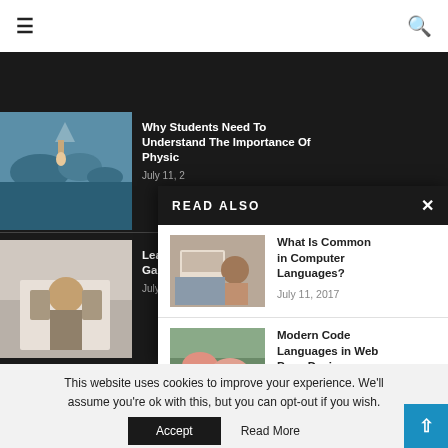≡  🔍
[Figure (photo): Aerial landscape with islands and water, person sitting on rock]
Why Students Need To Understand The Importance Of Physic
July 11, 2
[Figure (photo): Man looking at phone in cafe setting]
Learn … Games…
July 11, 2
READ ALSO
[Figure (photo): Woman working at laptop with notebook]
What Is Common in Computer Languages?
July 11, 2017
[Figure (photo): Two women doing yoga/fitness exercise on mat]
Modern Code Languages in Web Page Design
July 11, 2017
This website uses cookies to improve your experience. We'll assume you're ok with this, but you can opt-out if you wish.
Accept   Read More